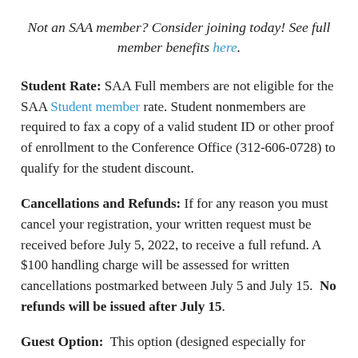Not an SAA member? Consider joining today! See full member benefits here.
Student Rate: SAA Full members are not eligible for the SAA Student member rate. Student nonmembers are required to fax a copy of a valid student ID or other proof of enrollment to the Conference Office (312-606-0728) to qualify for the student discount.
Cancellations and Refunds: If for any reason you must cancel your registration, your written request must be received before July 5, 2022, to receive a full refund. A $100 handling charge will be assessed for written cancellations postmarked between July 5 and July 15. No refunds will be issued after July 15.
Guest Option: This option (designed especially for spouses